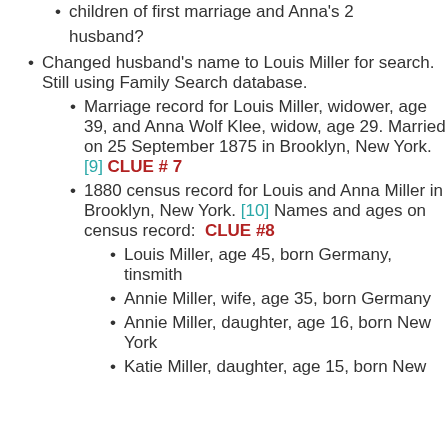children of first marriage and Anna's 2 husband?
Changed husband's name to Louis Miller for search. Still using Family Search database.
Marriage record for Louis Miller, widower, age 39, and Anna Wolf Klee, widow, age 29. Married on 25 September 1875 in Brooklyn, New York. [9] CLUE # 7
1880 census record for Louis and Anna Miller in Brooklyn, New York. [10] Names and ages on census record: CLUE #8
Louis Miller, age 45, born Germany, tinsmith
Annie Miller, wife, age 35, born Germany
Annie Miller, daughter, age 16, born New York
Katie Miller, daughter, age 15, born New